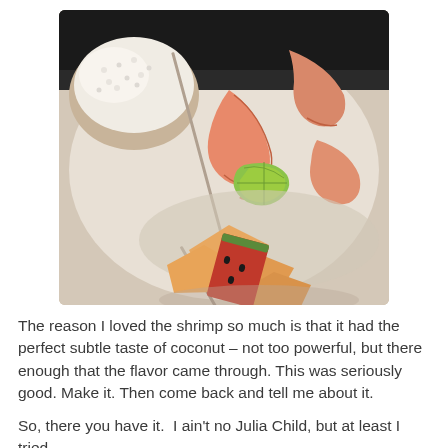[Figure (photo): A plate of grilled shrimp on skewers with a lime wedge, white rice, and sliced cantaloupe and watermelon on the side, photographed from above on a white plate.]
The reason I loved the shrimp so much is that it had the perfect subtle taste of coconut – not too powerful, but there enough that the flavor came through. This was seriously good. Make it. Then come back and tell me about it.
So, there you have it.  I ain't no Julia Child, but at least I tried.